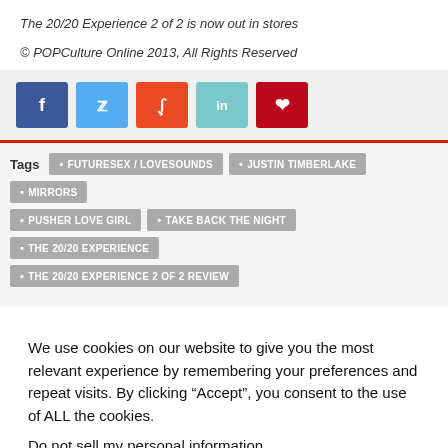The 20/20 Experience 2 of 2 is now out in stores
© POPCulture Online 2013, All Rights Reserved
[Figure (other): Social media share buttons: Facebook, Twitter, StumbleUpon, LinkedIn, Pinterest]
FUTURESEX / LOVESOUNDS
JUSTIN TIMBERLAKE
MIRRORS
PUSHER LOVE GIRL
TAKE BACK THE NIGHT
THE 20/20 EXPERIENCE
THE 20/20 EXPERIENCE 2 OF 2 REVIEW
We use cookies on our website to give you the most relevant experience by remembering your preferences and repeat visits. By clicking “Accept”, you consent to the use of ALL the cookies.
Do not sell my personal information.
Cookie settings   ACCEPT